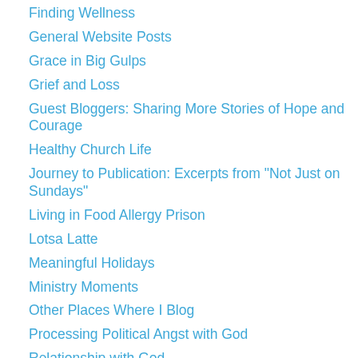Finding Wellness
General Website Posts
Grace in Big Gulps
Grief and Loss
Guest Bloggers: Sharing More Stories of Hope and Courage
Healthy Church Life
Journey to Publication: Excerpts from "Not Just on Sundays"
Living in Food Allergy Prison
Lotsa Latte
Meaningful Holidays
Ministry Moments
Other Places Where I Blog
Processing Political Angst with God
Relationship with God
Renewing Our Minds
Sensory Integration
Shih Tzu Shenanigans
Sookie, The Lion Head Rabbit
Spiritual Warfare (Light and Dark)
Tammie's Story: Child Loss and Suicide